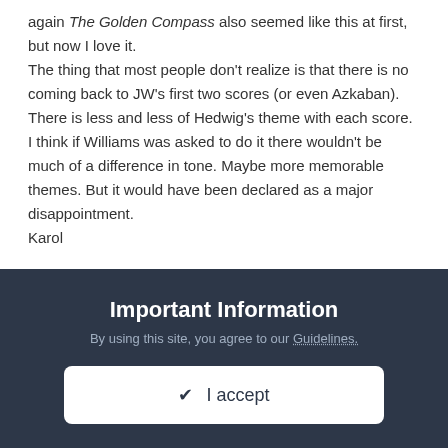again The Golden Compass also seemed like this at first, but now I love it.
The thing that most people don't realize is that there is no coming back to JW's first two scores (or even Azkaban). There is less and less of Hedwig's theme with each score. I think if Williams was asked to do it there wouldn't be much of a difference in tone. Maybe more memorable themes. But it would have been declared as a major disappointment.
Karol
BLUMENKOHL +1,064
Posted October 30, 2010
Whether or not the single main theme is "good" or not, is
Important Information
By using this site, you agree to our Guidelines.
✔ I accept